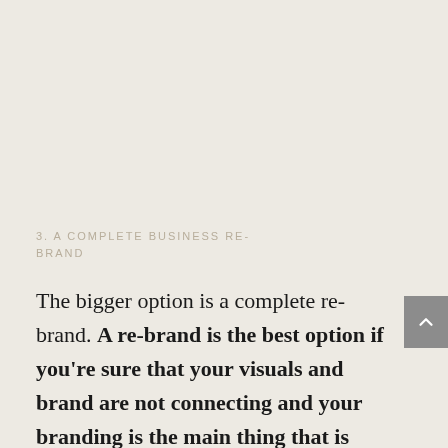3. A COMPLETE BUSINESS RE-BRAND
The bigger option is a complete re-brand. A re-brand is the best option if you're sure that your visuals and brand are not connecting and your branding is the main thing that is letting your business down and